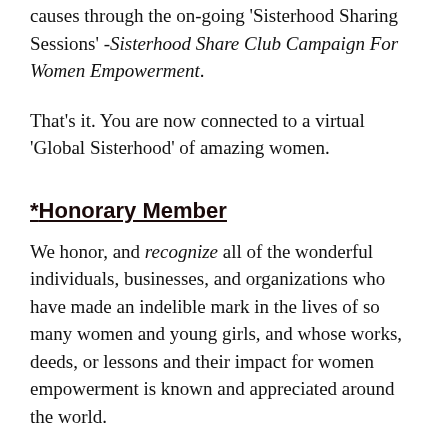causes through the on-going 'Sisterhood Sharing Sessions' -Sisterhood Share Club Campaign For Women Empowerment.
That's it. You are now connected to a virtual 'Global Sisterhood' of amazing women.
*Honorary Member
We honor, and recognize all of the wonderful individuals, businesses, and organizations who have made an indelible mark in the lives of so many women and young girls, and whose works, deeds, or lessons and their impact for women empowerment is known and appreciated around the world.
These individuals, businesses, and organizations